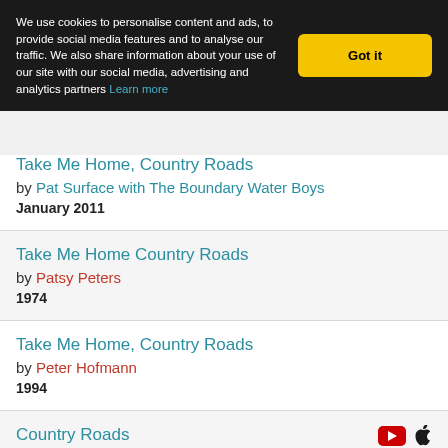We use cookies to personalise content and ads, to provide social media features and to analyse our traffic. We also share information about your use of our site with our social media, advertising and analytics partners Learn more
Take Me Home, Country Roads by Pat Surface with The Boundary Water Boys January 2011
Take Me Home Country Roads by Patsy Peters 1974
Take Me Home, Country Roads by Peter Hofmann 1994
Country Roads by Peter Hollens November 3, 2018 A cappella
Take Me Home, Country Roads (partial)